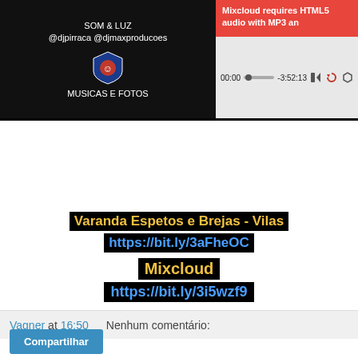[Figure (screenshot): Screenshot of a Mixcloud audio player embedded in a webpage. Left side shows black panel with text 'SOM & LUZ @djpirraca @djmaxproducoes' and 'MUSICAS E FOTOS' with a shield logo. Right side shows a red error bar reading 'Mixcloud requires HTML5 audio with MP3 an...' and player controls showing time 00:00 and -3:52:13 with a progress bar and icons.]
Mixcloud
https://bit.ly/3i5wzf9
Varanda Espetos e Brejas - Vilas
https://bit.ly/3aFheOC
Vagner at 16:50    Nenhum comentário:
Compartilhar